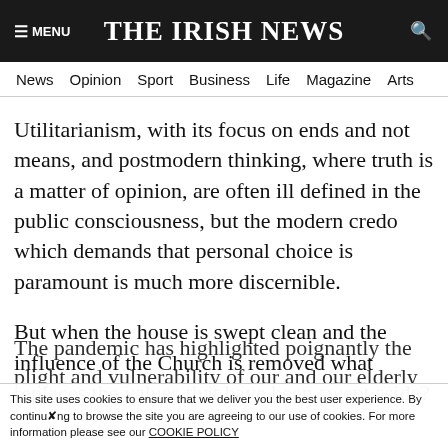≡ MENU   THE IRISH NEWS   🔍
News  Opinion  Sport  Business  Life  Magazine  Arts
Utilitarianism, with its focus on ends and not means, and postmodern thinking, where truth is a matter of opinion, are often ill defined in the public consciousness, but the modern credo which demands that personal choice is paramount is much more discernible.
But when the house is swept clean and the influence of the Church is removed what replaces the values that have been swept aside?
The pandemic has highlighted poignantly the plight and vulnerability of our and our elderly
This site uses cookies to ensure that we deliver you the best user experience. By continuing to browse the site you are agreeing to our use of cookies. For more information please see our COOKIE POLICY